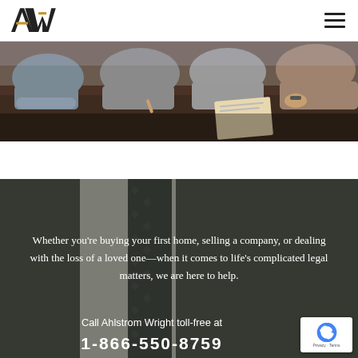AW — Ahlstrom Wright (logo and navigation)
[Figure (photo): People sitting around a conference table reviewing documents, shot from above, business meeting scene]
Whether you're buying your first home, selling a company, or dealing with the loss of a loved one—when it comes to life's complicated legal matters, we are here to help.
Call Ahlstrom Wright toll-free at
1-866-550-8759